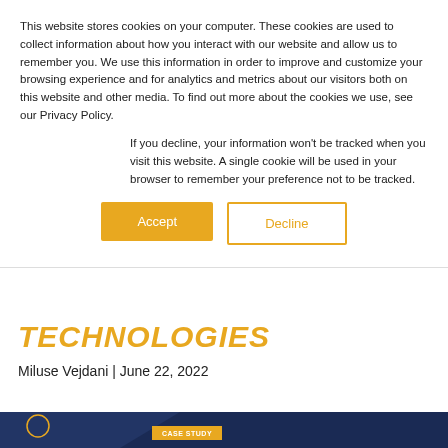This website stores cookies on your computer. These cookies are used to collect information about how you interact with our website and allow us to remember you. We use this information in order to improve and customize your browsing experience and for analytics and metrics about our visitors both on this website and other media. To find out more about the cookies we use, see our Privacy Policy.
If you decline, your information won't be tracked when you visit this website. A single cookie will be used in your browser to remember your preference not to be tracked.
Accept
Decline
TECHNOLOGIES
Miluse Vejdani | June 22, 2022
[Figure (screenshot): Dark blue article image with a lion logo in the upper left corner and an orange 'CASE STUDY' badge label in the center]